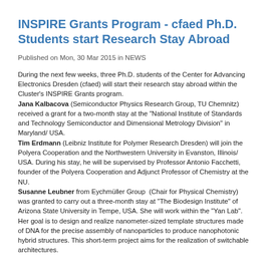INSPIRE Grants Program - cfaed Ph.D. Students start Research Stay Abroad
Published on Mon, 30 Mar 2015 in NEWS
During the next few weeks, three Ph.D. students of the Center for Advancing Electronics Dresden (cfaed) will start their research stay abroad within the Cluster's INSPIRE Grants program. Jana Kalbacova (Semiconductor Physics Research Group, TU Chemnitz) received a grant for a two-month stay at the "National Institute of Standards and Technology Semiconductor and Dimensional Metrology Division" in Maryland/ USA. Tim Erdmann (Leibniz Institute for Polymer Research Dresden) will join the Polyera Cooperation and the Northwestern University in Evanston, Illinois/ USA. During his stay, he will be supervised by Professor Antonio Facchetti, founder of the Polyera Cooperation and Adjunct Professor of Chemistry at the NU. Susanne Leubner from Eychmüller Group (Chair for Physical Chemistry) was granted to carry out a three-month stay at "The Biodesign Institute" of Arizona State University in Tempe, USA. She will work within the "Yan Lab". Her goal is to design and realize nanometer-sized template structures made of DNA for the precise assembly of nanoparticles to produce nanophotonic hybrid structures. This short-term project aims for the realization of switchable architectures.